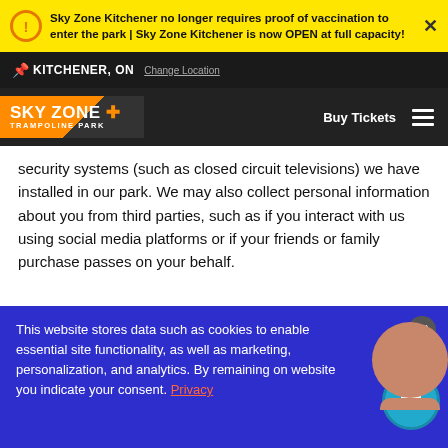Sky Zone Kitchener no longer requires proof of vaccination to enter the park | Sky Zone Kitchener is now OPEN at full capacity!
KITCHENER, ON  Change Location
SKY ZONE TRAMPOLINE PARK  Buy Tickets
security systems (such as closed circuit televisions) we have installed in our park. We may also collect personal information about you from third parties, such as if you interact with us using social media platforms or if your friends or family purchase passes on your behalf.
HOW WE USE YOUR PERSONAL INFORMATION
This website stores data such as cookies to enable essential site functionality, as well as marketing, personalization, and analytics. By remaining on website you indicate your consent. Privacy